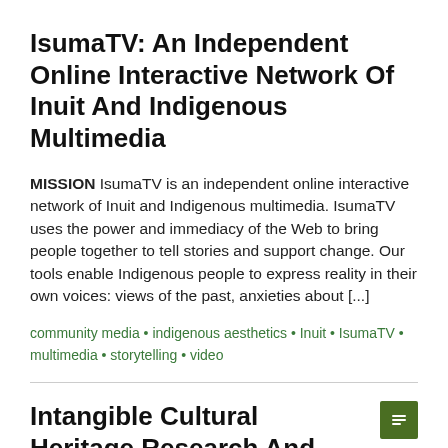IsumaTV: An Independent Online Interactive Network Of Inuit And Indigenous Multimedia
MISSION IsumaTV is an independent online interactive network of Inuit and Indigenous multimedia. IsumaTV uses the power and immediacy of the Web to bring people together to tell stories and support change. Our tools enable Indigenous people to express reality in their own voices: views of the past, anxieties about [...]
community media • indigenous aesthetics • Inuit • IsumaTV • multimedia • storytelling • video
Intangible Cultural Heritage Research And Documentation Lecture